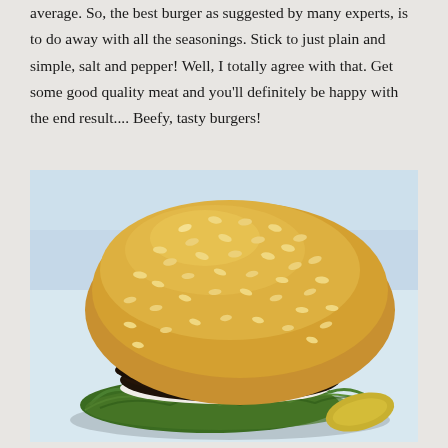average. So, the best burger as suggested by many experts, is to do away with all the seasonings. Stick to just plain and simple, salt and pepper! Well, I totally agree with that. Get some good quality meat and you'll definitely be happy with the end result.... Beefy, tasty burgers!
[Figure (photo): A close-up photo of a hamburger with a sesame seed bun, tomato slices, a dark grilled beef patty, onion rings, and green lettuce on a white plate with a light blue/grey background.]